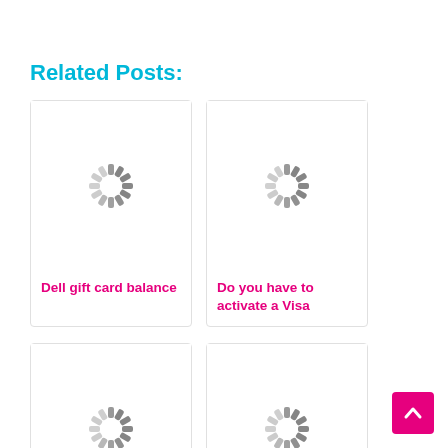Related Posts:
[Figure (illustration): Loading spinner icon for Dell gift card balance post]
Dell gift card balance
[Figure (illustration): Loading spinner icon for Do you have to activate a Visa post]
Do you have to activate a Visa
[Figure (illustration): Loading spinner icon for Activate Vanilla Mastercard gift post]
Activate Vanilla Mastercard gift
[Figure (illustration): Loading spinner icon for Activate visa gift card online post]
Activate visa gift card online